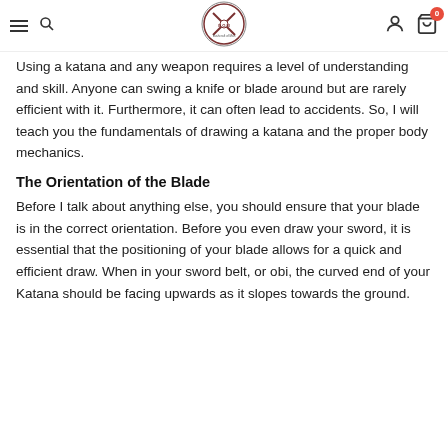Navigation header with hamburger menu, search icon, logo, user icon, and cart icon with badge 0
Using a katana and any weapon requires a level of understanding and skill. Anyone can swing a knife or blade around but are rarely efficient with it. Furthermore, it can often lead to accidents. So, I will teach you the fundamentals of drawing a katana and the proper body mechanics.
The Orientation of the Blade
Before I talk about anything else, you should ensure that your blade is in the correct orientation. Before you even draw your sword, it is essential that the positioning of your blade allows for a quick and efficient draw. When in your sword belt, or obi, the curved end of your Katana should be facing upwards as it slopes towards the ground.